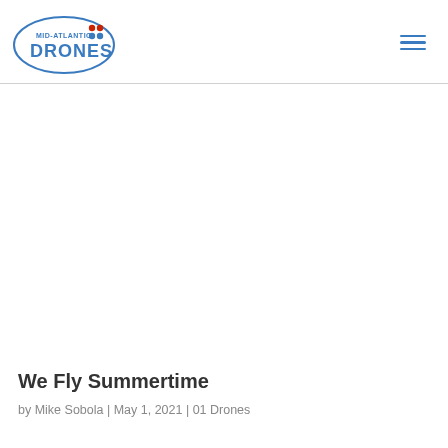[Figure (logo): Mid-Atlantic Drones logo: blue oval outline with 'MID-ATLANTIC' in small caps and 'DRONES' in large bold blue letters, with red and blue dots in upper right of oval]
We Fly Summertime
by Mike Sobola | May 1, 2021 | 01 Drones